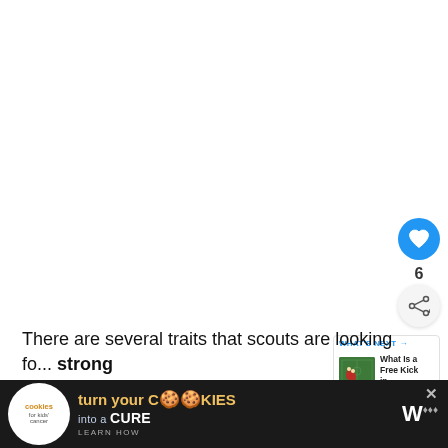[Figure (screenshot): White blank content area with UI overlay elements: heart/like button (blue circle with heart icon), count of 6, share button, and a 'What's Next' card showing a soccer/football image thumbnail with text 'What Is a Free Kick in...']
There are several traits that scouts are looking fo... strong
[Figure (other): Advertisement banner: 'cookies for kids cancer' logo on dark background with text 'turn your COOKIES into a CURE LEARN HOW' with a close button X]